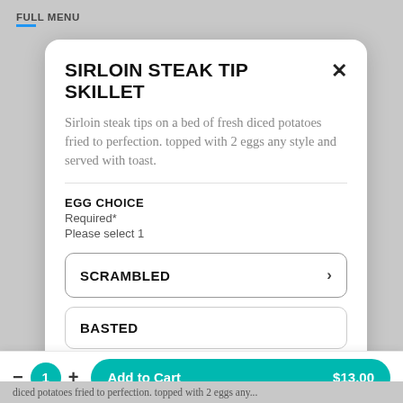FULL MENU
SIRLOIN STEAK TIP SKILLET
Sirloin steak tips on a bed of fresh diced potatoes fried to perfection. topped with 2 eggs any style and served with toast.
EGG CHOICE
Required*
Please select 1
SCRAMBLED
BASTED
- 1 + Add to Cart $13.00
diced potatoes fried to perfection. topped with 2 eggs any...